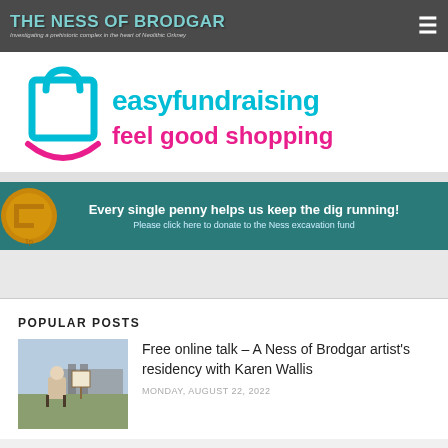THE NESS OF BRODGAR — Investigating a prehistoric complex in the heart of Neolithic Orkney
[Figure (logo): easyfundraising logo with teal shopping bag icon and pink text reading 'easyfundraising feel good shopping']
[Figure (infographic): Teal banner with penny coin on left. Text: 'Every single penny helps us keep the dig running! Please click here to donate to the Ness excavation fund']
POPULAR POSTS
[Figure (photo): Person sitting outdoors at archaeological site with painting equipment]
Free online talk – A Ness of Brodgar artist's residency with Karen Wallis
MONDAY, AUGUST 22, 2022